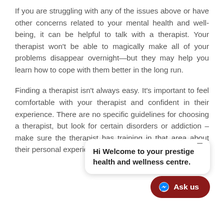If you are struggling with any of the issues above or have other concerns related to your mental health and well-being, it can be helpful to talk with a therapist. Your therapist won't be able to magically make all of your problems disappear overnight—but they may help you learn how to cope with them better in the long run.
Finding a therapist isn't always easy. It's important to feel comfortable with your therapist and confident in their experience. There are no specific guidelines for choosing a therapist, but look for certain disorders or addiction – make sure the therapist has training in that area about their personal experience treating
[Figure (other): Chat popup bubble with text 'Hi Welcome to your prestige health and wellness centre.' and a minimize button, overlaid on the page. Below is a dark red 'Ask us' button with a Messenger icon.]